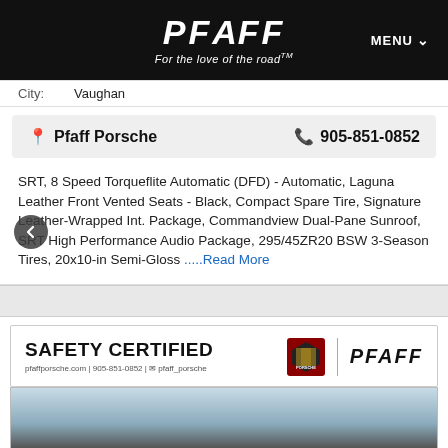PFAFF — For the love of the road™ | MENU
City: Vaughan
Pfaff Porsche   905-851-0852
SRT, 8 Speed Torqueflite Automatic (DFD) - Automatic, Laguna Leather Front Vented Seats - Black, Compact Spare Tire, Signature Leather-Wrapped Int. Package, Commandview Dual-Pane Sunroof, SRT High Performance Audio Package, 295/45ZR20 BSW 3-Season Tires, 20x10-in Semi-Gloss .....Read More
[Figure (infographic): Safety Certified card with Porsche and Pfaff logos, pfaffporsche.com | 905-851-0852 | @pfaff_porsche]
[Figure (photo): Partial view of car dealership building exterior]